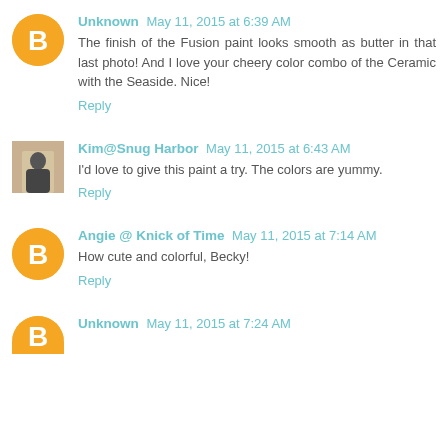Unknown May 11, 2015 at 6:39 AM
The finish of the Fusion paint looks smooth as butter in that last photo! And I love your cheery color combo of the Ceramic with the Seaside. Nice!
Reply
Kim@Snug Harbor May 11, 2015 at 6:43 AM
I'd love to give this paint a try. The colors are yummy.
Reply
Angie @ Knick of Time May 11, 2015 at 7:14 AM
How cute and colorful, Becky!
Reply
Unknown May 11, 2015 at 7:24 AM